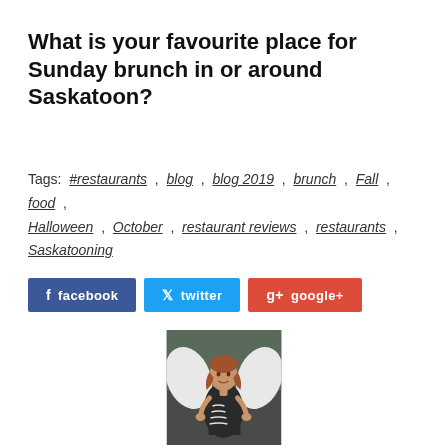What is your favourite place for Sunday brunch in or around Saskatoon?
Tags: #restaurants , blog , blog 2019 , brunch , Fall , food , Halloween , October , restaurant reviews , restaurants , Saskatooning
[Figure (other): Social sharing buttons: facebook, twitter, google+]
[Figure (photo): Photo of a woman in a black and white zebra-print dress posing with large white angel wings outdoors]